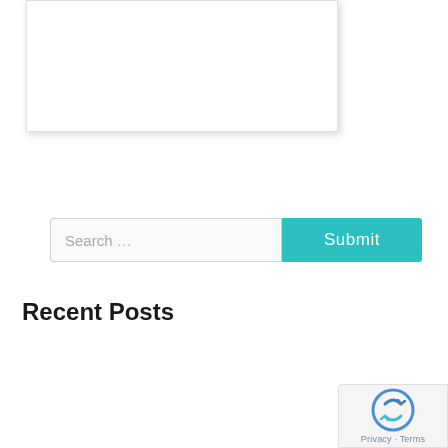[Figure (other): White card/panel area with shadow at top of page]
Search …
Submit
Recent Posts
Improving the User Experience on Your Website
Business Branding 101: Putting Your Small Business on the Map
[Figure (other): reCAPTCHA privacy badge with logo, Privacy and Terms links]